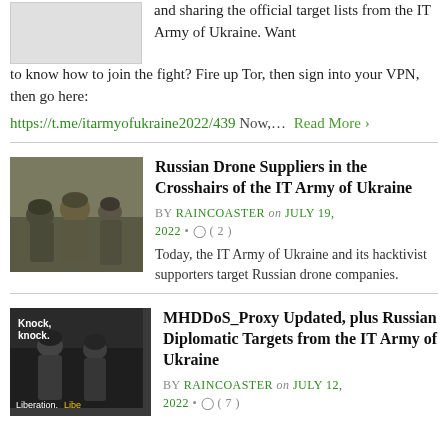and sharing the official target lists from the IT Army of Ukraine. Want to know how to join the fight? Fire up Tor, then sign into your VPN, then go here:
https://t.me/itarmyofukraine2022/439 Now,… Read More ›
Russian Drone Suppliers in the Crosshairs of the IT Army of Ukraine
BY RAINCOASTER on JULY 19, 2022 • ◯ ( 2 )
Today, the IT Army of Ukraine and its hacktivist supporters target Russian drone companies.
MHDDoS_Proxy Updated, plus Russian Diplomatic Targets from the IT Army of Ukraine
BY RAINCOASTER on JULY 12, 2022 • ◯ ( 7 )